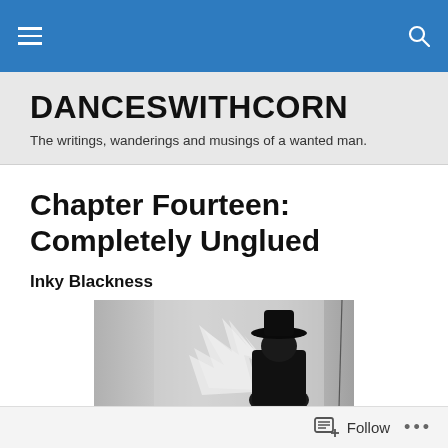DANCESWITHCORN navigation bar
DANCESWITHCORN
The writings, wanderings and musings of a wanted man.
Chapter Fourteen: Completely Unglued
Inky Blackness
[Figure (photo): Black and white photo showing a dark silhouette of a figure wearing a hat against a light background with a white star shape visible]
Follow ...